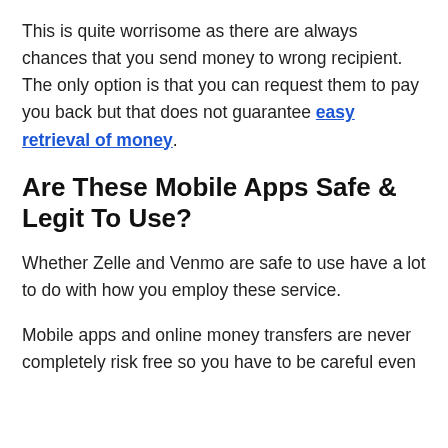This is quite worrisome as there are always chances that you send money to wrong recipient. The only option is that you can request them to pay you back but that does not guarantee easy retrieval of money.
Are These Mobile Apps Safe & Legit To Use?
Whether Zelle and Venmo are safe to use have a lot to do with how you employ these service.
Mobile apps and online money transfers are never completely risk free so you have to be careful even